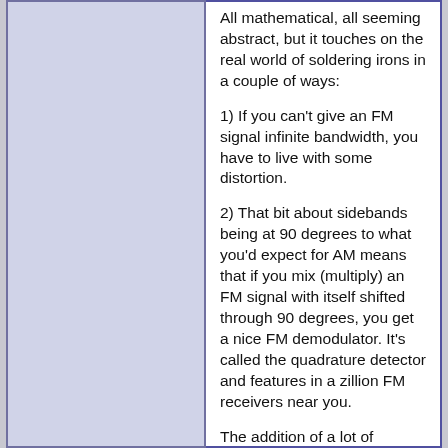All mathematical, all seeming abstract, but it touches on the real world of soldering irons in a couple of ways:
1) If you can't give an FM signal infinite bandwidth, you have to live with some distortion.
2) That bit about sidebands being at 90 degrees to what you'd expect for AM means that if you mix (multiply) an FM signal with itself shifted through 90 degrees, you get a nice FM demodulator. It's called the quadrature detector and features in a zillion FM receivers near you.
The addition of a lot of (usually) progressively smaller vectors to make a staircase approximating to a circular arc can be done with a mathematical series, the Bessel function. Ns the bessel functions describe the amoplitudes of our different sidebands. Bessel functions pass through zero several times